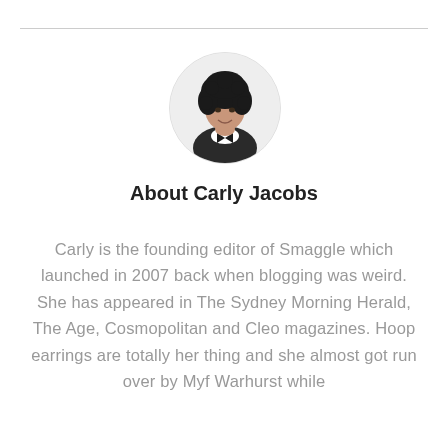[Figure (photo): Circular avatar photo of Carly Jacobs, a woman with curly dark hair wearing a black and white top]
About Carly Jacobs
Carly is the founding editor of Smaggle which launched in 2007 back when blogging was weird. She has appeared in The Sydney Morning Herald, The Age, Cosmopolitan and Cleo magazines. Hoop earrings are totally her thing and she almost got run over by Myf Warhurst while